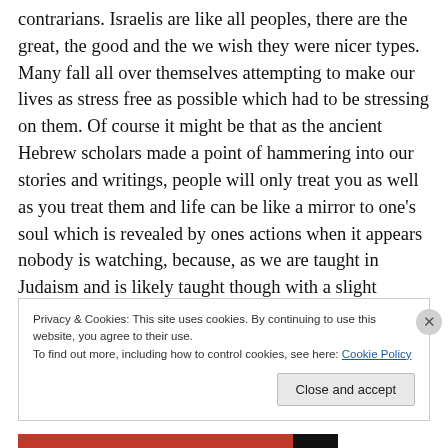contrarians. Israelis are like all peoples, there are the great, the good and the we wish they were nicer types. Many fall all over themselves attempting to make our lives as stress free as possible which had to be stressing on them. Of course it might be that as the ancient Hebrew scholars made a point of hammering into our stories and writings, people will only treat you as well as you treat them and life can be like a mirror to one's soul which is revealed by ones actions when it appears nobody is watching, because, as we are taught in Judaism and is likely taught though with a slight difference, there is always
Privacy & Cookies: This site uses cookies. By continuing to use this website, you agree to their use. To find out more, including how to control cookies, see here: Cookie Policy